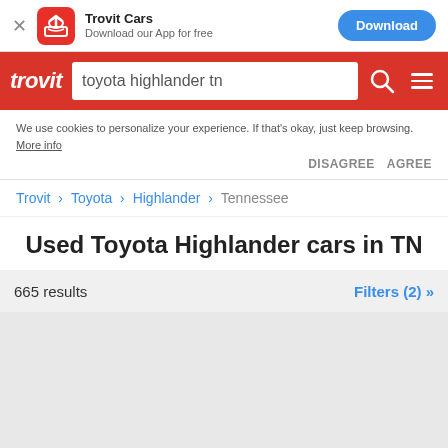[Figure (screenshot): App download banner for Trovit Cars with red icon, title, subtitle, and blue Download button]
[Figure (screenshot): Red navigation header with trovit logo, search box containing 'toyota highlander tn', search icon, and menu icon]
We use cookies to personalize your experience. If that's okay, just keep browsing. More info DISAGREE AGREE
Trovit > Toyota > Highlander > Tennessee
Used Toyota Highlander cars in TN
665 results   Filters (2) »